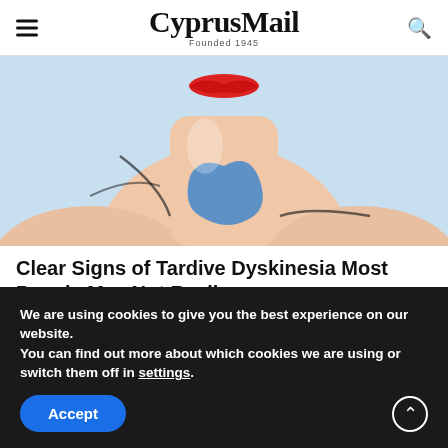CyprusMail — Founded 1945
[Figure (illustration): Medical illustration of a throat/neck area with blue highlighted thyroid gland region, red lips visible at top, on light blue background]
Clear Signs of Tardive Dyskinesia Most People May Not Realize
Tardive Dyskinesia | Search Ad
[Figure (photo): Partial photo of a person's neck/chest area, skin-toned]
We are using cookies to give you the best experience on our website.
You can find out more about which cookies we are using or switch them off in settings.
Accept